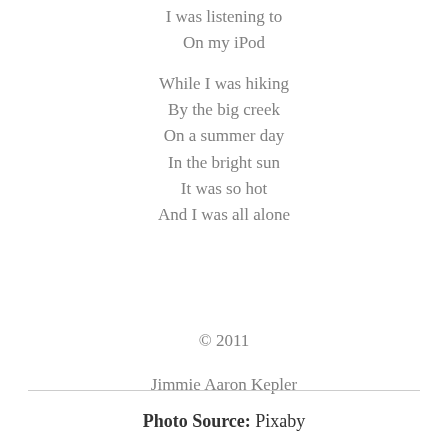I was listening to
On my iPod
While I was hiking
By the big creek
On a summer day
In the bright sun
It was so hot
And I was all alone
© 2011
Jimmie Aaron Kepler
Photo Source: Pixaby